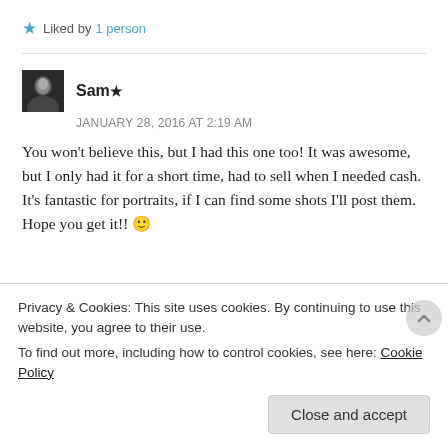★ Liked by 1 person
Sam★
JANUARY 28, 2016 AT 2:19 AM

You won't believe this, but I had this one too! It was awesome, but I only had it for a short time, had to sell when I needed cash. It's fantastic for portraits, if I can find some shots I'll post them. Hope you get it!! 🙂
Privacy & Cookies: This site uses cookies. By continuing to use this website, you agree to their use.
To find out more, including how to control cookies, see here: Cookie Policy
[Close and accept]